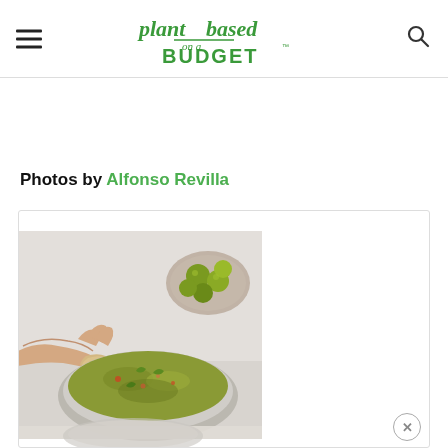plantbased on a BUDGET
Photos by Alfonso Revilla
[Figure (photo): A hand dipping a piece of bread or cracker into a green herb-based dish in a white bowl, with a bowl of green olives in the background on a marble surface. Below is a partially visible second image of another dish.]